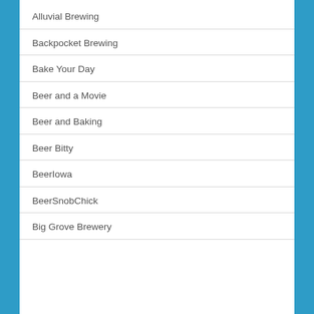Alluvial Brewing
Backpocket Brewing
Bake Your Day
Beer and a Movie
Beer and Baking
Beer Bitty
BeerIowa
BeerSnobChick
Big Grove Brewery